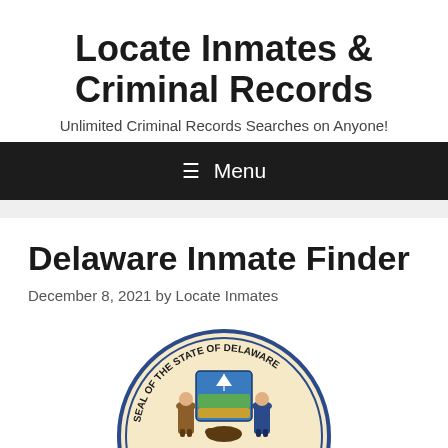Locate Inmates & Criminal Records
Unlimited Criminal Records Searches on Anyone!
≡ Menu
Delaware Inmate Finder
December 8, 2021 by Locate Inmates
[Figure (illustration): Seal of the State of Delaware, circular seal showing two men flanking a shield with a ship at top, partially visible at bottom of page]